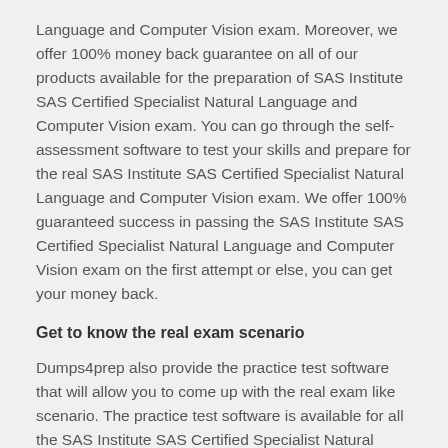Language and Computer Vision exam. Moreover, we offer 100% money back guarantee on all of our products available for the preparation of SAS Institute SAS Certified Specialist Natural Language and Computer Vision exam. You can go through the self-assessment software to test your skills and prepare for the real SAS Institute SAS Certified Specialist Natural Language and Computer Vision exam. We offer 100% guaranteed success in passing the SAS Institute SAS Certified Specialist Natural Language and Computer Vision exam on the first attempt or else, you can get your money back.
Get to know the real exam scenario
Dumps4prep also provide the practice test software that will allow you to come up with the real exam like scenario. The practice test software is available for all the SAS Institute SAS Certified Specialist Natural Language and Computer Vision exams, and you will be able to know the real exam scenario with the help of this test software. If you want to pass the exam in the first attempt, then it is